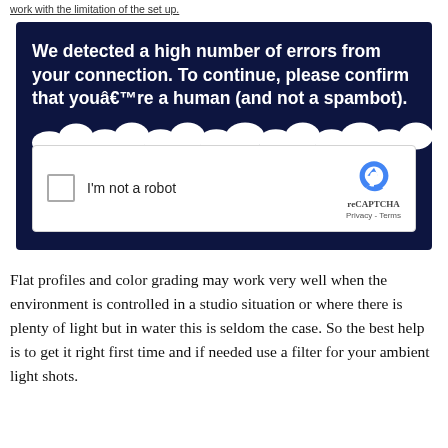work with the limitation of the set up.
[Figure (screenshot): Screenshot of a CAPTCHA page with dark navy background showing the message: 'We detected a high number of errors from your connection. To continue, please confirm that youâ€™re a human (and not a spambot).' Below is a reCAPTCHA widget with a checkbox labeled 'I'm not a robot' and the reCAPTCHA logo with 'Privacy - Terms' text.]
Flat profiles and color grading may work very well when the environment is controlled in a studio situation or where there is plenty of light but in water this is seldom the case. So the best help is to get it right first time and if needed use a filter for your ambient light shots.